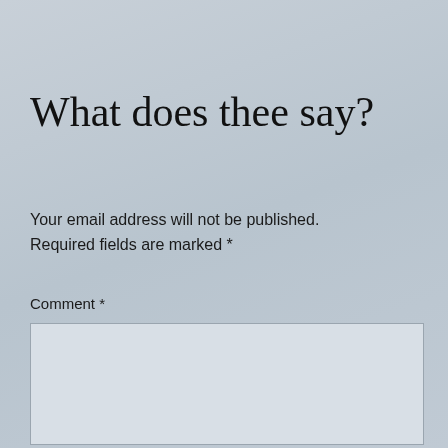What does thee say?
Your email address will not be published. Required fields are marked *
Comment *
[Figure (other): Empty comment text area input box with light gray background and border]